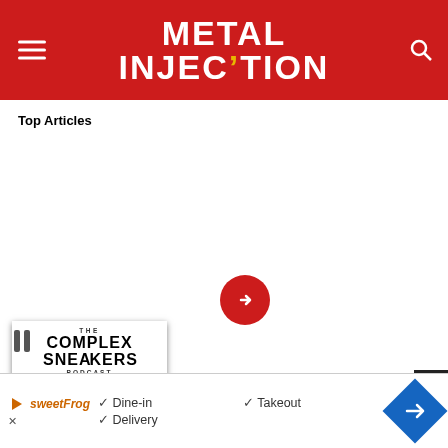Metal Injection
[Figure (screenshot): Top Articles banner showing The Complex Sneakers Podcast with three men sitting/standing, a sneaker image overlay, Complex Sneakers Podcast logo box, and red arrow button]
School Sneakers, Then and Now | The Complex Sneakers Podcast
Rammstein – 16.9m
Green Day – 16.5m
Nirvana – 15.8m
Slipknot – 13.8m
Nickelback – 11.8m
Five Finger Death Punch – 11.6m
Led Zeppelin – 11.1m
[Figure (screenshot): SweetFrog ad banner with Dine-in, Takeout, Delivery checkmarks and navigation arrow]